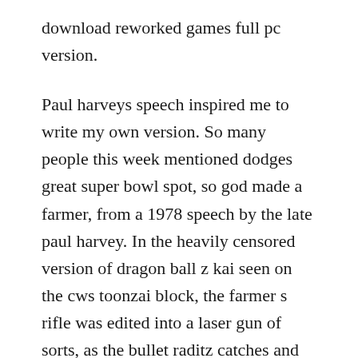download reworked games full pc version.
Paul harveys speech inspired me to write my own version. So many people this week mentioned dodges great super bowl spot, so god made a farmer, from a 1978 speech by the late paul harvey. In the heavily censored version of dragon ball z kai seen on the cws toonzai block, the farmer s rifle was edited into a laser gun of sorts, as the bullet raditz catches and then flicks back at the farmer was given a blue glow. The so god made a far mer video features the voice of paul harvey a